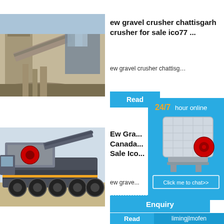[Figure (photo): Demolished building / quarry crusher machinery photo]
ew gravel crusher chattisgarh crusher for sale ico77 ...
ew gravel crusher chattisg…
Read
[Figure (infographic): 24/7 hour online widget with crusher machine image and Click me to chat>> button]
[Figure (photo): Mobile crusher truck on road photo]
Ew Gra... Canada... Sale Ico...
ew grave...
Enquiry
Read
limingjlmofen